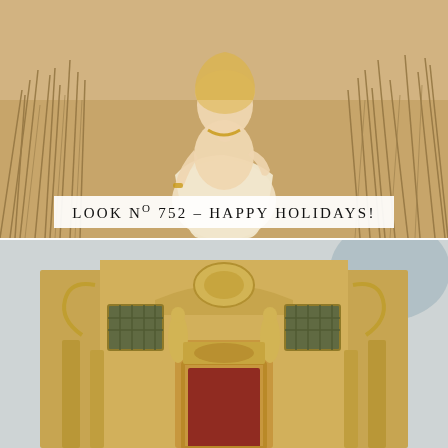[Figure (photo): A woman in a white dress and gold jewelry sitting on a sandy beach with tall dry grass in the background, warm golden tones]
LOOK N° 752 – HAPPY HOLIDAYS!
[Figure (photo): Ornate baroque facade of a church or historic building with golden stone decorations, statues, arched windows, and a red door entrance, light blue sky background]